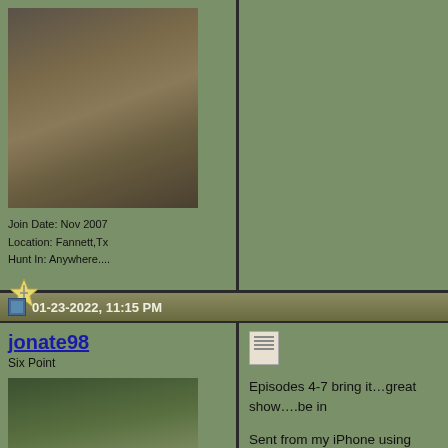[Figure (photo): Hunter posing with a large white-tailed deer buck, outdoor field setting]
Join Date: Nov 2007
Location: Fannett,Tx
Hunt In: Anywhere....
[Figure (logo): Arrow/points icon badge]
01-23-2022, 11:15 PM
jonate98
Six Point
[Figure (photo): Hunter standing holding up a deer carcass outdoors]
[Figure (logo): Tapatalk app icon]
Episodes 4-7 bring it…great show….be in
Sent from my iPhone using Tapatalk